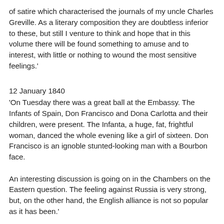of satire which characterised the journals of my uncle Charles Greville. As a literary composition they are doubtless inferior to these, but still I venture to think and hope that in this volume there will be found something to amuse and to interest, with little or nothing to wound the most sensitive feelings.'
12 January 1840
'On Tuesday there was a great ball at the Embassy. The Infants of Spain, Don Francisco and Dona Carlotta and their children, were present. The Infanta, a huge, fat, frightful woman, danced the whole evening like a girl of sixteen. Don Francisco is an ignoble stunted-looking man with a Bourbon face.

An interesting discussion is going on in the Chambers on the Eastern question. The feeling against Russia is very strong, but, on the other hand, the English alliance is not so popular as it has been.'
5 April 1840
'I have been confined for a fortnight by a most excruciating